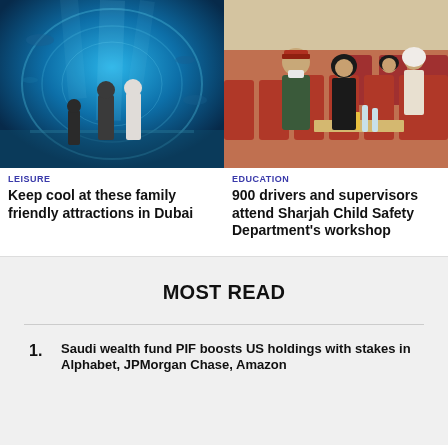[Figure (photo): People walking through an underwater aquarium tunnel with blue water and fish visible overhead]
[Figure (photo): Military officer and women in black abayas seated at a conference or workshop, with red chairs]
LEISURE
Keep cool at these family friendly attractions in Dubai
EDUCATION
900 drivers and supervisors attend Sharjah Child Safety Department's workshop
MOST READ
Saudi wealth fund PIF boosts US holdings with stakes in Alphabet, JPMorgan Chase, Amazon